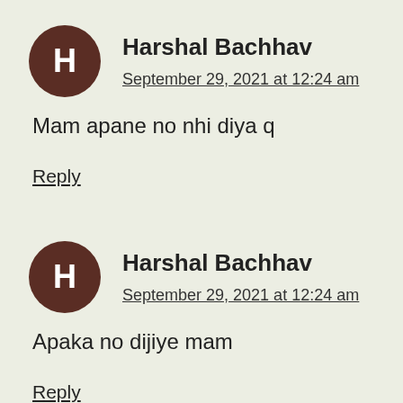Harshal Bachhav
September 29, 2021 at 12:24 am
Mam apane no nhi diya q
Reply
Harshal Bachhav
September 29, 2021 at 12:24 am
Apaka no dijiye mam
Reply